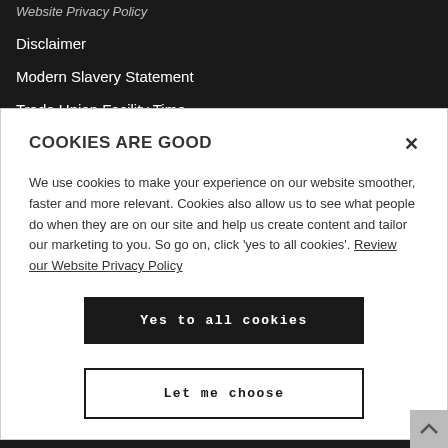Website Privacy Policy
Disclaimer
Modern Slavery Statement
Trade Union Facility Time
COOKIES ARE GOOD
We use cookies to make your experience on our website smoother, faster and more relevant. Cookies also allow us to see what people do when they are on our site and help us create content and tailor our marketing to you. So go on, click 'yes to all cookies'. Review our Website Privacy Policy
Yes to all cookies
Let me choose